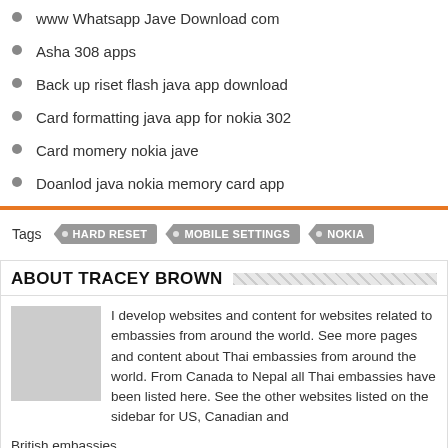www Whatsapp Jave Download com
Asha 308 apps
Back up riset flash java app download
Card formatting java app for nokia 302
Card momery nokia jave
Doanlod java nokia memory card app
Tags  HARD RESET  MOBILE SETTINGS  NOKIA
ABOUT TRACEY BROWN
I develop websites and content for websites related to embassies from around the world. See more pages and content about Thai embassies from around the world. From Canada to Nepal all Thai embassies have been listed here. See the other websites listed on the sidebar for US, Canadian and British embassies.